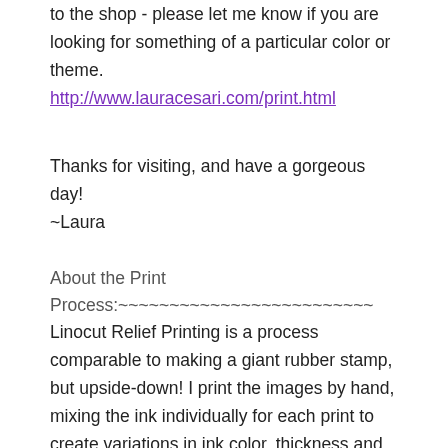to the shop - please let me know if you are looking for something of a particular color or theme.
http://www.lauracesari.com/print.html
Thanks for visiting, and have a gorgeous day!
~Laura
About the Print Process:~~~~~~~~~~~~~~~~~~~~~~~~~
Linocut Relief Printing is a process comparable to making a giant rubber stamp, but upside-down! I print the images by hand, mixing the ink individually for each print to create variations in ink color, thickness and texture (wabisabi). I love this process because I can produce as many prints as I want, and yet each print has a unique look; the most irregular